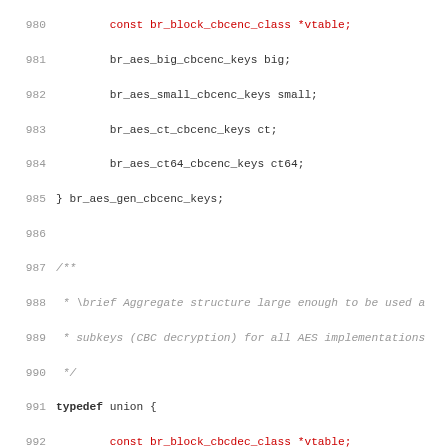Source code listing lines 980-1011 showing C typedef union structures for AES CBC encryption, CBC decryption, and CTR encryption/decryption key types.